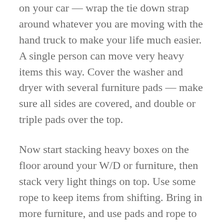on your car — wrap the tie down strap around whatever you are moving with the hand truck to make your life much easier. A single person can move very heavy items this way. Cover the washer and dryer with several furniture pads — make sure all sides are covered, and double or triple pads over the top.
Now start stacking heavy boxes on the floor around your W/D or furniture, then stack very light things on top. Use some rope to keep items from shifting. Bring in more furniture, and use pads and rope to protect it. Light items and boxes can go on